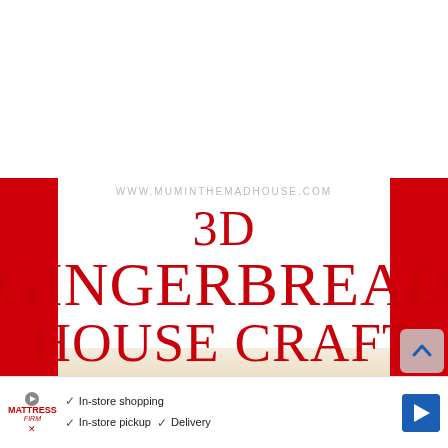WWW.MUMINTHEMADHOUSE.COM
3D GINGERBREAD HOUSE CRAFT
With Free Printable Templates
[Figure (infographic): Red vertical bars on left and right sides, white center background with red text title and URL watermark]
In-store shopping  In-store pickup  Delivery